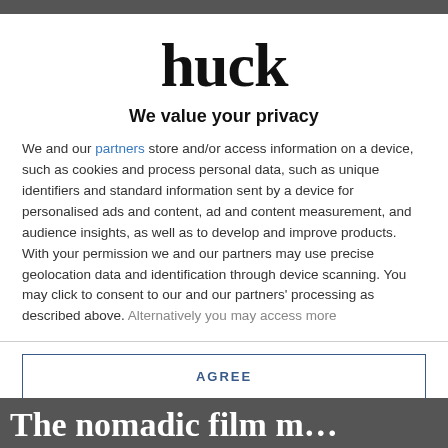huck
We value your privacy
We and our partners store and/or access information on a device, such as cookies and process personal data, such as unique identifiers and standard information sent by a device for personalised ads and content, ad and content measurement, and audience insights, as well as to develop and improve products. With your permission we and our partners may use precise geolocation data and identification through device scanning. You may click to consent to our and our partners' processing as described above. Alternatively you may access more
AGREE
MORE OPTIONS
The nomadic film m…